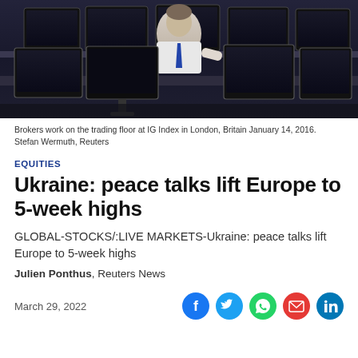[Figure (photo): Brokers working on the trading floor at IG Index in London, with multiple monitors visible]
Brokers work on the trading floor at IG Index in London, Britain January 14, 2016. Stefan Wermuth, Reuters
EQUITIES
Ukraine: peace talks lift Europe to 5-week highs
GLOBAL-STOCKS/:LIVE MARKETS-Ukraine: peace talks lift Europe to 5-week highs
Julien Ponthus, Reuters News
March 29, 2022